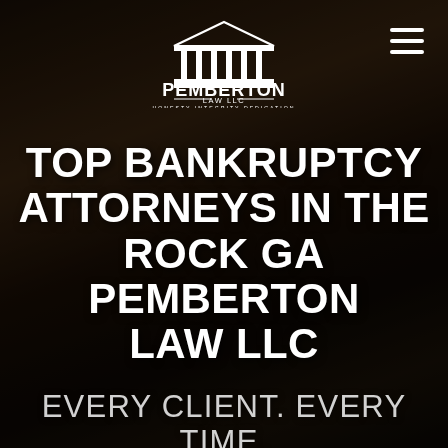[Figure (logo): Pemberton Law LLC logo with courthouse/temple icon above the text PEMBERTON LAW LLC and tagline HONESTY INTEGRITY DEDICATION]
TOP BANKRUPTCY ATTORNEYS IN THE ROCK GA PEMBERTON LAW LLC
EVERY CLIENT. EVERY TIME.